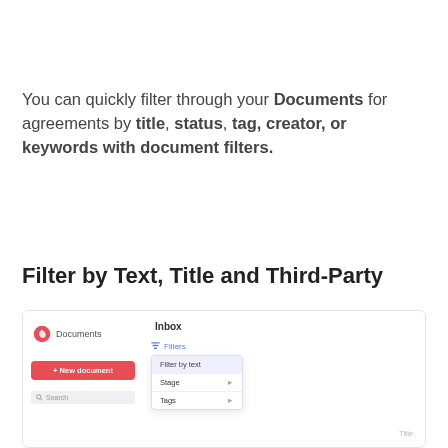You can quickly filter through your Documents for agreements by title, status, tag, creator, or keywords with document filters.
Filter by Text, Title and Third-Party
[Figure (screenshot): Screenshot of a document management UI showing a sidebar with Documents logo, New document button, and Search bar on the left; the main area shows an Inbox view with a Filters dropdown open with options: Filter by text (highlighted), Stage, Tags, and a Title column header.]